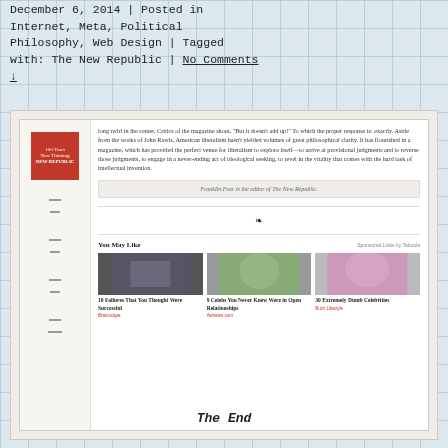December 6, 2014 | Posted in Internet, Meta, Political Philosophy, Web Design | Tagged with: The New Republic | No Comments ↓
[Figure (screenshot): Screenshot of The New Republic website article page showing article text, author bio box 'Franklin Foer is the editor of The New Republic.', 'You May Like' section with three sponsored content cards: '10 Failures That You Thought Were Successful', '9 Celebs You Never Knew Were in Open Relationships', '30 Extremely Dumb Celebrities']
The End